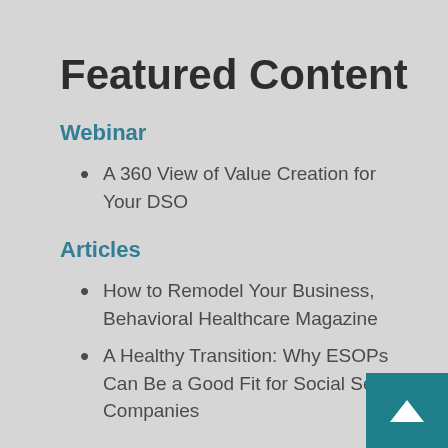Featured Content
Webinar
A 360 View of Value Creation for Your DSO
Articles
How to Remodel Your Business, Behavioral Healthcare Magazine
A Healthy Transition: Why ESOPs Can Be a Good Fit for Social Service Companies